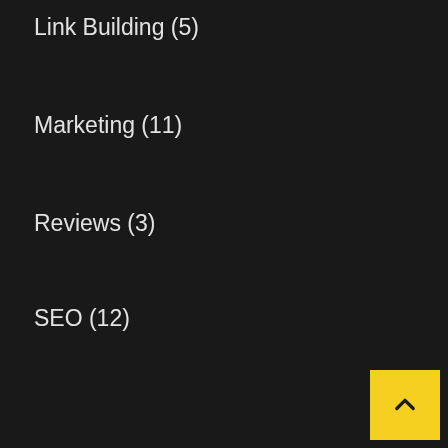Link Building (5)
Marketing (11)
Reviews (3)
SEO (12)
Social Media (6)
Storytelling (1)
Technology (4)
Twitter (3)
Wordpress (5)